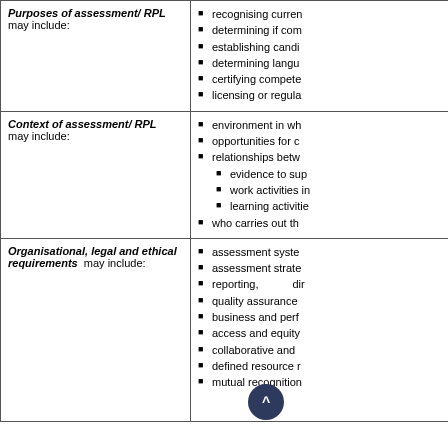| Term | Description |
| --- | --- |
| Purposes of assessment/ RPL  may include: | recognising curren...
determining if com...
establishing candi...
determining langu...
certifying compete...
licensing or regula... |
| Context of assessment/ RPL  may include: | environment in wh...
opportunities for c...
relationships betw...
  evidence to sup...
  work activities i...
  learning activitie...
who carries out th... |
| Organisational, legal and ethical requirements  may include: | assessment syste...
assessment strate...
reporting... dir...
quality assurance...
business and perf...
access and equity...
collaborative and...
defined resource...
mutual recognition... |